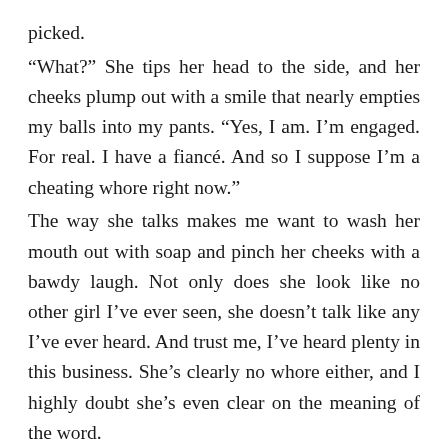picked. “What?” She tips her head to the side, and her cheeks plump out with a smile that nearly empties my balls into my pants. “Yes, I am. I’m engaged. For real. I have a fiancé. And so I suppose I’m a cheating whore right now.” The way she talks makes me want to wash her mouth out with soap and pinch her cheeks with a bawdy laugh. Not only does she look like no other girl I’ve ever seen, she doesn’t talk like any I’ve ever heard. And trust me, I’ve heard plenty in this business. She’s clearly no whore either, and I highly doubt she’s even clear on the meaning of the word. The sound of the words “fiancé” and “whore” on her lips makes me want to throw her over my knee and spank those thoughts out of her. No fucking way is she engaged. I can see it in her eyes; she’s as fresh as a Sunday afternoon in spring. And if she really belonged to someone else, she wouldn’t have kissed me like she